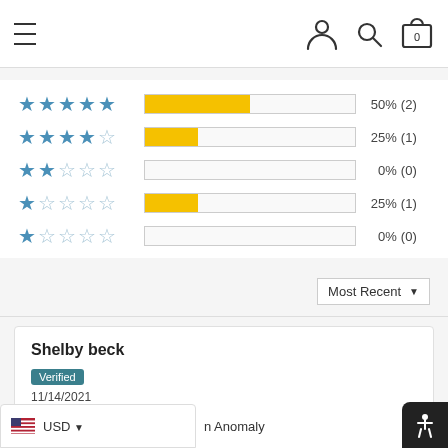Navigation header with hamburger menu and user, search, cart icons
[Figure (bar-chart): Ratings distribution]
Most Recent ▼
Shelby beck
Verified
11/14/2021
★★★★☆ (4 stars)
n Anomaly
USD ▼